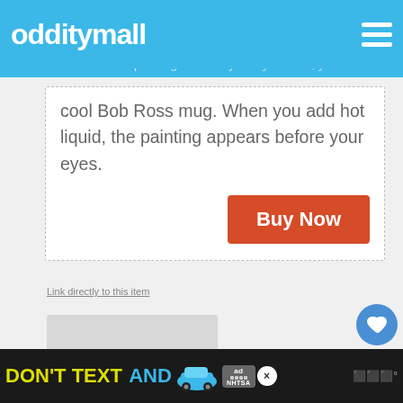odditymall
coffee while Bob Ross paint right before your eyes. Well, you can thanks to this cool Bob Ross mug. When you add hot liquid, the painting appears before your eyes.
Buy Now
Link directly to this item
DON'T TEXT AND [car image] [NHTSA badge]